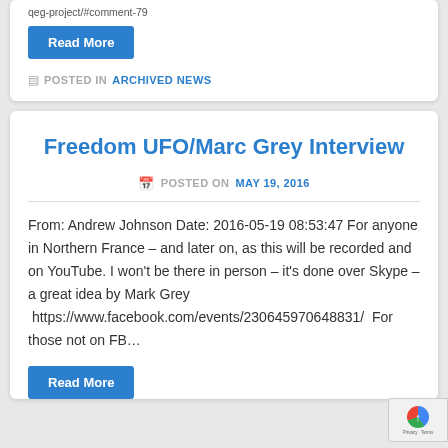qeg-project/#comment-79
Read More
POSTED IN ARCHIVED NEWS
Freedom UFO/Marc Grey Interview
POSTED ON MAY 19, 2016
From: Andrew Johnson Date: 2016-05-19 08:53:47 For anyone in Northern France – and later on, as this will be recorded and on YouTube. I won't be there in person – it's done over Skype – a great idea by Mark Grey   https://www.facebook.com/events/230645970648831/  For those not on FB…
Read More